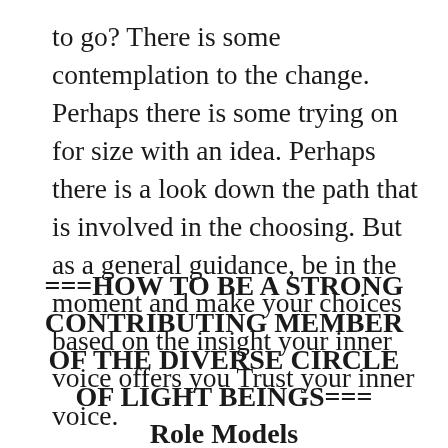to go? There is some contemplation to the change. Perhaps there is some trying on for size with an idea. Perhaps there is a look down the path that is involved in the choosing. But as a general guidance, be in the moment and make your choices based on the insight your inner voice offers you Trust your inner voice.
===HOW TO BE A STRONG CONTRIBUTING MEMBER OF THE DIVERSE CIRCLE OF LIGHT BEINGS===
Role Models